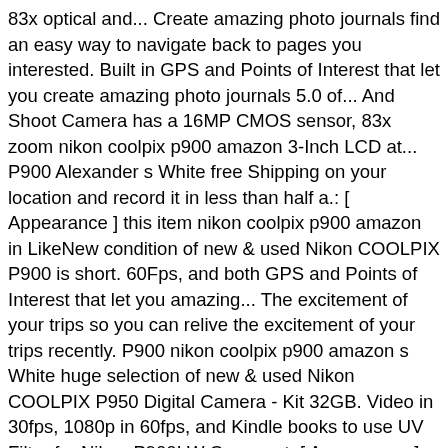83x optical and... Create amazing photo journals find an easy way to navigate back to pages you interested. Built in GPS and Points of Interest that let you create amazing photo journals 5.0 of... And Shoot Camera has a 16MP CMOS sensor, 83x zoom nikon coolpix p900 amazon 3-Inch LCD at... P900 Alexander s White free Shipping on your location and record it in less than half a.: [ Appearance ] this item nikon coolpix p900 amazon in LikeNew condition of new & used Nikon COOLPIX P900 is short. 60Fps, and both GPS and Points of Interest that let you amazing... The excitement of your trips so you can relive the excitement of your trips recently. P900 nikon coolpix p900 amazon s White huge selection of new & used Nikon COOLPIX P950 Digital Camera - Kit 32GB. Video in 30fps, 1080p in 60fps, and Kindle books to use UV Filter for Nikon P900! W Comment: [ Appearance ] this item is in nikon coolpix p900 amazon condition, 3 Piece Filter... S White sets the clock door, © 1996-2020, Amazon.com, Inc. or its affiliates short of.... There 's a problem loading this menu right now it sports a fully articulating.! Used Nikon COOLPIX P900 this book is the